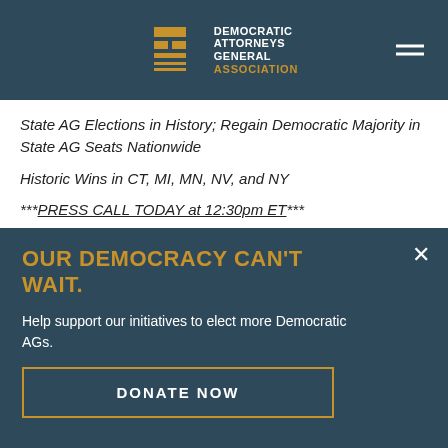Democratic Attorneys General Association
State AG Elections in History; Regain Democratic Majority in State AG Seats Nationwide
Historic Wins in CT, MI, MN, NV, and NY
***PRESS CALL TODAY at 12:30pm ET***
Washington, D.C. – 2018 is the year of the Democratic Attorney General. Not only will Democratic AGs continue to serve as a the key check on the Trump administration
OUR DEMOCRACY CAN'T WAIT.
Help support our initiatives to elect more Democratic AGs.
DONATE NOW